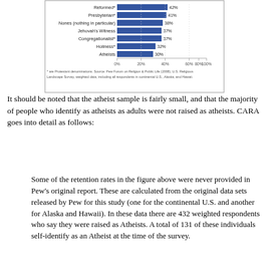[Figure (bar-chart): Religious retention rates (partial)]
It should be noted that the atheist sample is fairly small, and that the majority of people who identify as atheists as adults were not raised as atheists. CARA goes into detail as follows:
Some of the retention rates in the figure above were never provided in Pew's original report. These are calculated from the original data sets released by Pew for this study (one for the continental U.S. and another for Alaska and Hawaii). In these data there are 432 weighted respondents who say they were raised as Atheists. A total of 131 of these individuals self-identify as an Atheist at the time of the survey.